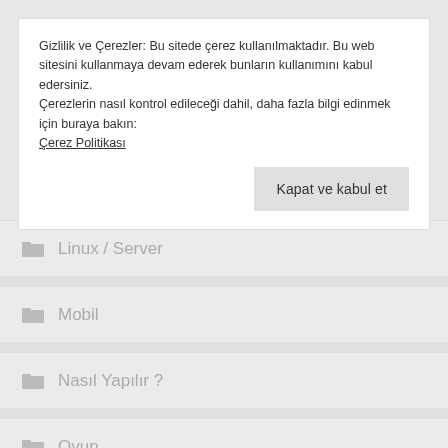Gizlilik ve Çerezler: Bu sitede çerez kullanılmaktadır. Bu web sitesini kullanmaya devam ederek bunların kullanımını kabul edersiniz.
Çerezlerin nasıl kontrol edileceği dahil, daha fazla bilgi edinmek için buraya bakın: Çerez Politikası
Kapat ve kabul et
Linux / Server
Mobil
Nasıl Yapılır ?
Oyun
Paradoks
Programlama
Tarih